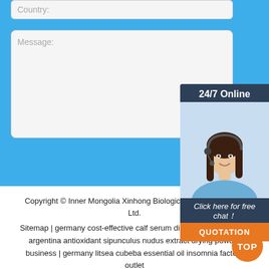Country:
Message:
Submit Now
[Figure (photo): Chat widget showing 24/7 Online support with photo of woman wearing headset, 'Click here for free chat!' text and QUOTATION button]
Copyright © Inner Mongolia Xinhong Biological Technology Co., Ltd.
Sitemap | germany cost-effective calf serum direct manufacturers | argentina antioxidant sipunculus nudus extract drying powder business | germany litsea cubeba essential oil insomnia factory outlet